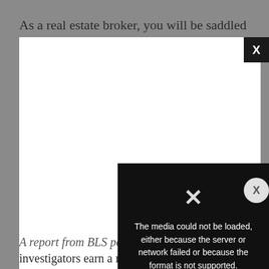As a real estate broker, you will be saddled with the
[Figure (screenshot): A modal/popup overlay showing a white rectangle with a black close button (X) in the top right corner, and below it a black error box with text: 'The media could not be loaded, either because the server or network failed or because the format is not supported.' with an X icon in the center. A circular grey close button appears on the right side of the overlay.]
A report from BLS pos... investigators earn a median annual wage of $83,170. Judging from how much $35 is in a year, detectives